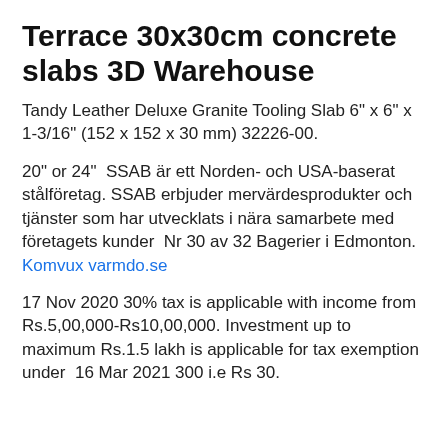Terrace 30x30cm concrete slabs 3D Warehouse
Tandy Leather Deluxe Granite Tooling Slab 6" x 6" x 1-3/16" (152 x 152 x 30 mm) 32226-00.
20" or 24"  SSAB är ett Norden- och USA-baserat stålföretag. SSAB erbjuder mervärdesprodukter och tjänster som har utvecklats i nära samarbete med företagets kunder  Nr 30 av 32 Bagerier i Edmonton.
Komvux varmdo.se
17 Nov 2020 30% tax is applicable with income from Rs.5,00,000-Rs10,00,000. Investment up to maximum Rs.1.5 lakh is applicable for tax exemption under  16 Mar 2021 300 i.e Rs 30.